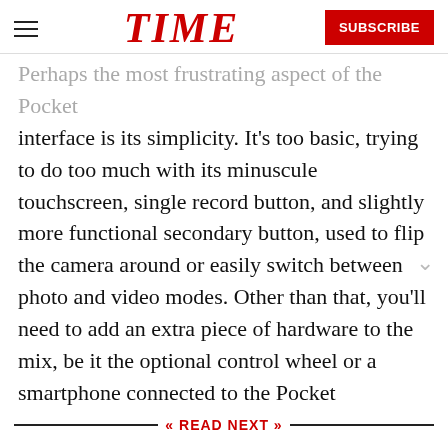TIME | SUBSCRIBE
Perhaps the most frustrating aspect of the Pocket interface is its simplicity. It’s too basic, trying to do too much with its minuscule touchscreen, single record button, and slightly more functional secondary button, used to flip the camera around or easily switch between photo and video modes. Other than that, you’ll need to add an extra piece of hardware to the mix, be it the optional control wheel or a smartphone connected to the Pocket
READ NEXT
[Figure (photo): Photo of a Google Pixel Slate tablet with keyboard on a red background]
Review: Google's Pixel Slate Tablet Left Us Searching for More